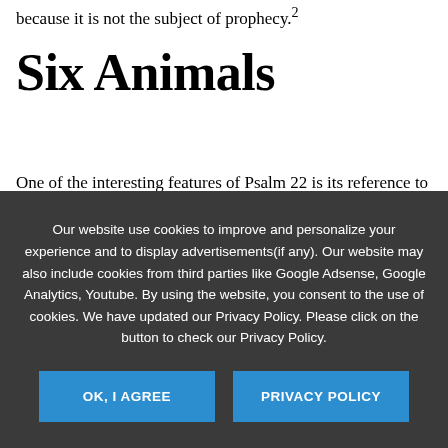because it is not the subject of prophecy.²
Six Animals
One of the interesting features of Psalm 22 is its reference to six animals. Many have noticed this and wondered why. Let's explore this briefly—and in doing so it will throw more light on this wonderful
Our website use cookies to improve and personalize your experience and to display advertisements(if any). Our website may also include cookies from third parties like Google Adsense, Google Analytics, Youtube. By using the website, you consent to the use of cookies. We have updated our Privacy Policy. Please click on the button to check our Privacy Policy.
OK, I AGREE
PRIVACY POLICY